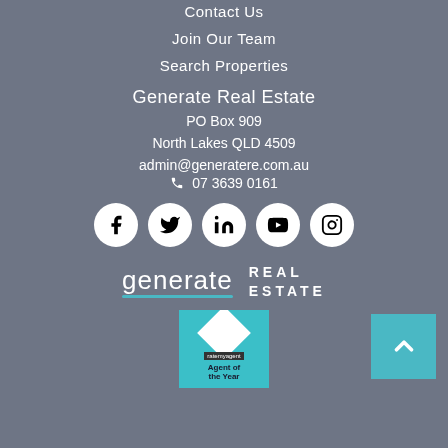Contact Us
Join Our Team
Search Properties
Generate Real Estate
PO Box 909
North Lakes QLD 4509
admin@generatere.com.au
07 3639 0161
[Figure (logo): Social media icons: Facebook, Twitter, LinkedIn, YouTube, Instagram in white circles on grey background]
[Figure (logo): Generate Real Estate logo — 'generate' in white lowercase with teal underline, 'REAL ESTATE' in spaced caps]
[Figure (illustration): Rate My Agent 'Agent of the Year' award badge, teal background with white diamond shape]
[Figure (other): Scroll-to-top button, teal square with upward chevron]